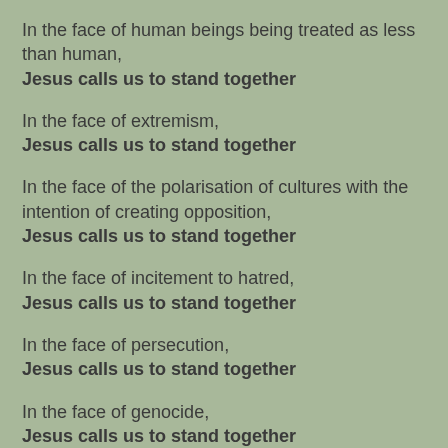In the face of human beings being treated as less than human,
Jesus calls us to stand together
In the face of extremism,
Jesus calls us to stand together
In the face of the polarisation of cultures with the intention of creating opposition,
Jesus calls us to stand together
In the face of incitement to hatred,
Jesus calls us to stand together
In the face of persecution,
Jesus calls us to stand together
In the face of genocide,
Jesus calls us to stand together
In the face of denial of such atrocities as the Holocaust,
Jesus calls us to stand together